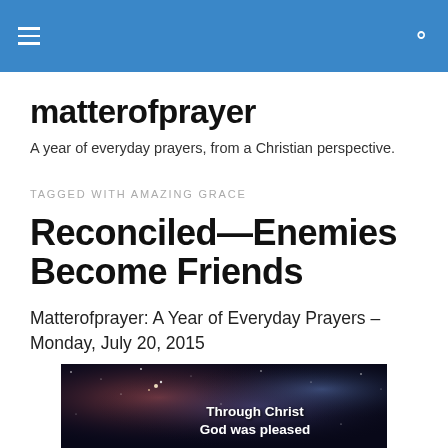matterofprayer [hamburger menu and search icon]
matterofprayer
A year of everyday prayers, from a Christian perspective.
TAGGED WITH AMAZING GRACE
Reconciled—Enemies Become Friends
Matterofprayer: A Year of Everyday Prayers – Monday, July 20, 2015
[Figure (photo): Nebula/galaxy image with text overlay reading 'Through Christ God was pleased']